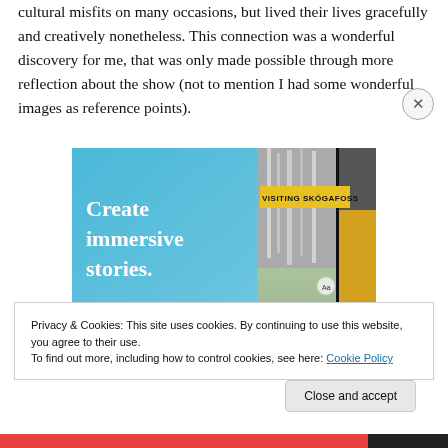cultural misfits on many occasions, but lived their lives gracefully and creatively nonetheless. This connection was a wonderful discovery for me, that was only made possible through more reflection about the show (not to mention I had some wonderful images as reference points).
[Figure (other): Advertisement banner showing 'Create immersive stories.' text on a blue gradient background with a photo of someone in a yellow jacket near a waterfall, with text overlay 'VISITING SKOGAFOSS']
Privacy & Cookies: This site uses cookies. By continuing to use this website, you agree to their use.
To find out more, including how to control cookies, see here: Cookie Policy